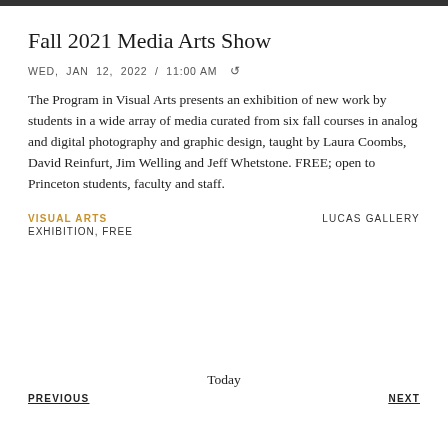Fall 2021 Media Arts Show
WED, JAN 12, 2022 / 11:00 AM
The Program in Visual Arts presents an exhibition of new work by students in a wide array of media curated from six fall courses in analog and digital photography and graphic design, taught by Laura Coombs, David Reinfurt, Jim Welling and Jeff Whetstone. FREE; open to Princeton students, faculty and staff.
VISUAL ARTS
EXHIBITION, FREE
LUCAS GALLERY
Today
PREVIOUS
NEXT